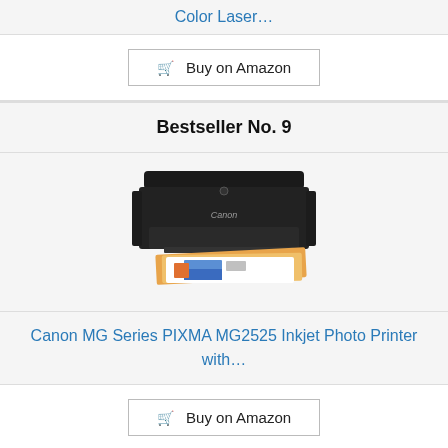Color Laser…
🛒 Buy on Amazon
Bestseller No. 9
[Figure (photo): Canon MG Series PIXMA MG2525 inkjet photo printer, black, shown with printed photo pages emerging from the output tray.]
Canon MG Series PIXMA MG2525 Inkjet Photo Printer with…
🛒 Buy on Amazon